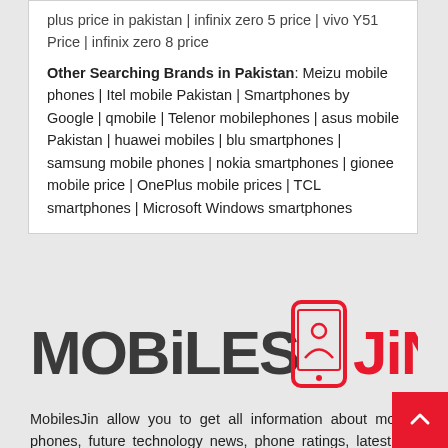plus price in pakistan | infinix zero 5 price | vivo Y51 Price | infinix zero 8 price
Other Searching Brands in Pakistan: Meizu mobile phones | Itel mobile Pakistan | Smartphones by Google | qmobile | Telenor mobilephones | asus mobile Pakistan | huawei mobiles | blu smartphones | samsung mobile phones | nokia smartphones | gionee mobile price | OnePlus mobile prices | TCL smartphones | Microsoft Windows smartphones
[Figure (logo): MobilesJin logo with stylized phone icon in red and dark text]
MobilesJin allow you to get all information about mobile phones, future technology news, phone ratings, latest Mo price in Pakistan, android news and a lot more than this in a